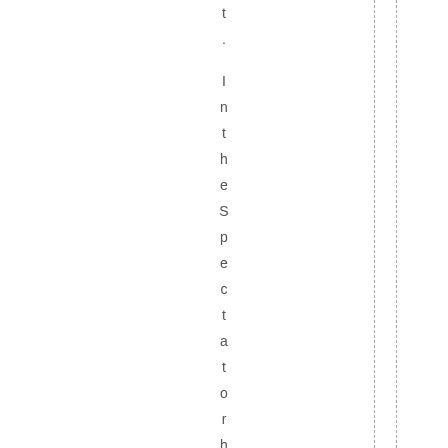t . In the Spectator he writes